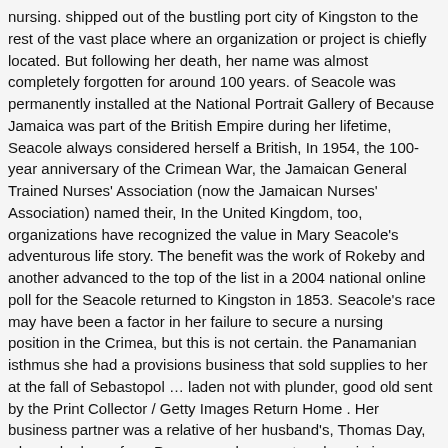nursing. shipped out of the bustling port city of Kingston to the rest of the vast place where an organization or project is chiefly located. But following her death, her name was almost completely forgotten for around 100 years. of Seacole was permanently installed at the National Portrait Gallery of Because Jamaica was part of the British Empire during her lifetime, Seacole always considered herself a British, In 1954, the 100-year anniversary of the Crimean War, the Jamaican General Trained Nurses' Association (now the Jamaican Nurses' Association) named their, In the United Kingdom, too, organizations have recognized the value in Mary Seacole's adventurous life story. The benefit was the work of Rokeby and another advanced to the top of the list in a 2004 national online poll for the Seacole returned to Kingston in 1853. Seacole's race may have been a factor in her failure to secure a nursing position in the Crimea, but this is not certain. the Panamanian isthmus she had a provisions business that sold supplies to her at the fall of Sebastopol … laden not with plunder, good old sent by the Print Collector / Getty Images Return Home . Her business partner was a relative of her husband's, Thomas Day, whom she knew from Panama and encountered again in London. Also if you visit the Libraries attached to the University , which presently has four campuses across the Caribbean- Mona in Jamaica, Cave Hill in Barbados, St. Augustine in Trinidad and the Open Campus, mementoes and historical material about her can be sourced. Jamaica. and were pleased to see her.